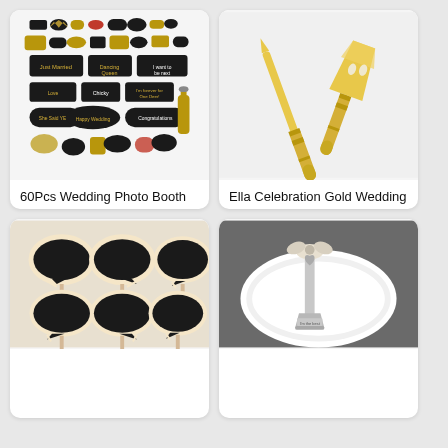[Figure (photo): Photo booth props kit with black and gold speech bubble signs and accessories]
60Pcs Wedding Photo Booth Props Pose Sign Kit,Bachelorette Christmas Holiday Wedding Birthday Party Decoration Supplies
$19.99
[Figure (photo): Gold cake knife and server set with glitter handles]
Ella Celebration Gold Wedding Cake Knife & Server Set, Vintage Cake Cutting Utensils, Party Supplies Golden Anniversary...
$44.99 - $101.99
[Figure (photo): Black chalkboard speech bubble photo booth props with gold wooden sticks]
[Figure (photo): Silver cake server on white plate with engraving and ribbon bow]